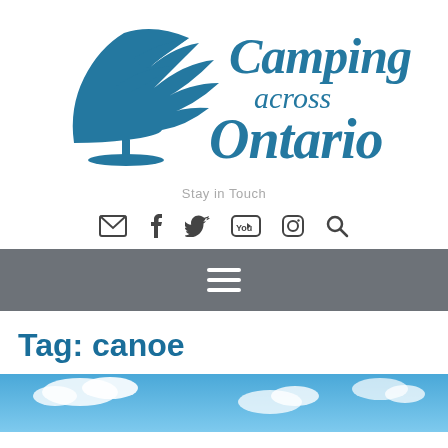[Figure (logo): Camping across Ontario logo with a stylized windswept pine tree on the left and the text 'Camping across Ontario' in teal/blue serif lettering on the right]
Stay in Touch
[Figure (infographic): Social media icons row: email envelope, Facebook f, Twitter bird, YouTube, Instagram, and Search magnifying glass — all in dark gray]
[Figure (infographic): Gray navigation bar with a white hamburger menu icon (three horizontal lines)]
Tag: canoe
[Figure (photo): Blue sky with white clouds, partially visible at the bottom of the page]